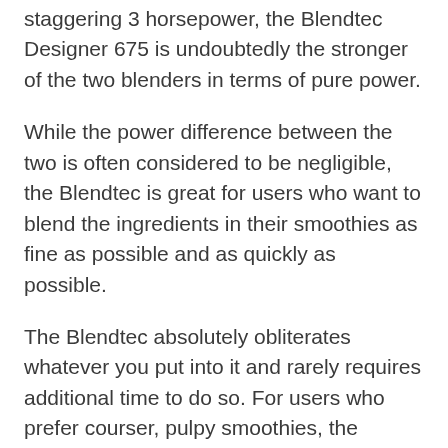staggering 3 horsepower, the Blendtec Designer 675 is undoubtedly the stronger of the two blenders in terms of pure power.
While the power difference between the two is often considered to be negligible, the Blendtec is great for users who want to blend the ingredients in their smoothies as fine as possible and as quickly as possible.
The Blendtec absolutely obliterates whatever you put into it and rarely requires additional time to do so. For users who prefer courser, pulpy smoothies, the Blendtec might prove to be too powerful to be convenient, as you would constantly have to fuss over the speed settings.